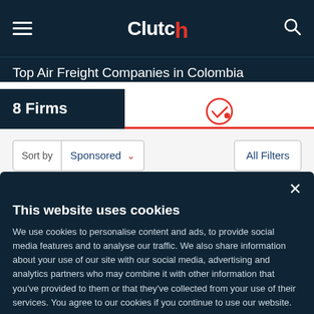Clutch
Top Air Freight Companies in Colombia
8 Firms
[Figure (screenshot): Verified/checkmark tab icon with red underline indicating selected tab]
Sort by Sponsored
All Filters
This website uses cookies
We use cookies to personalise content and ads, to provide social media features and to analyse our traffic. We also share information about your use of our site with our social media, advertising and analytics partners who may combine it with other information that you've provided to them or that they've collected from your use of their services. You agree to our cookies if you continue to use our website.
Close
Show details